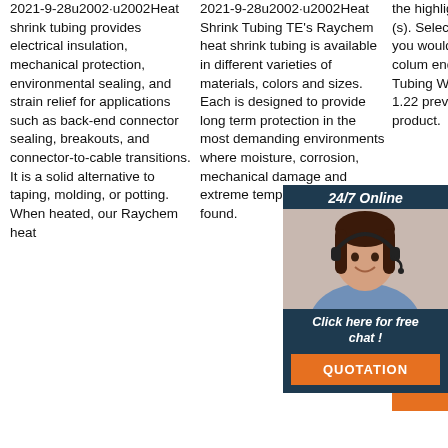2021-9-28u2002·u2002Heat shrink tubing provides electrical insulation, mechanical protection, environmental sealing, and strain relief for applications such as back-end connector sealing, breakouts, and connector-to-cable transitions. It is a solid alternative to taping, molding, or potting. When heated, our Raychem heat
2021-9-28u2002·u2002Heat Shrink Tubing TE's Raychem heat shrink tubing is available in different varieties of materials, colors and sizes. Each is designed to provide long term protection in the most demanding environments where moisture, corrosion, mechanical damage and extreme temperature are found.
the highlighted quantity field (s). Select the properties you would like to see added column end of Adhesi Heat S Tubing Wall, 6 33 mm ft, 1.22 previous purcha product.
[Figure (infographic): 24/7 Online chat widget with photo of woman with headset, 'Click here for free chat!' text, and QUOTATION button in orange]
[Figure (infographic): Get Price orange button with TOP badge logo (house icon with dots around it)]